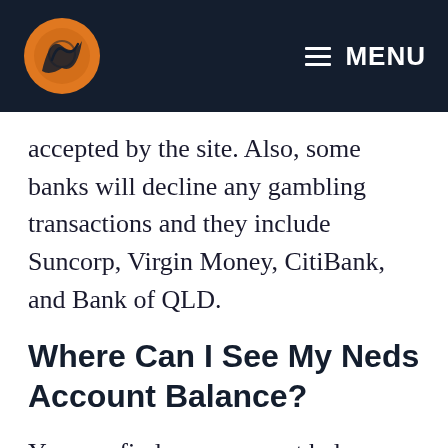MENU
accepted by the site. Also, some banks will decline any gambling transactions and they include Suncorp, Virgin Money, CitiBank, and Bank of QLD.
Where Can I See My Neds Account Balance?
You can find your account balance really easily with Neds, even if you are on your phone or computer. Simply log into your account and go to the top right-hand corner of the screen where you will see the balance